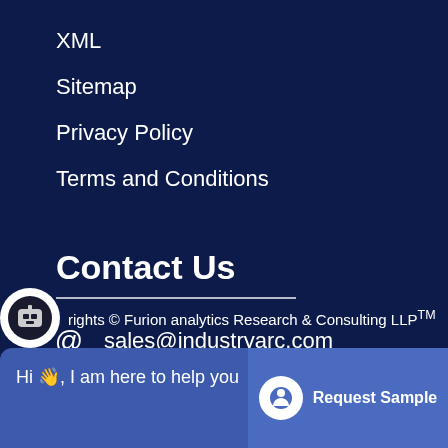XML
Sitemap
Privacy Policy
Terms and Conditions
Contact Us
sales@industryarc.com
+1970-236-3677
rights © Furion analytics Research & Consulting LLP™
Hi 👋, I am here to help you
Request Sample